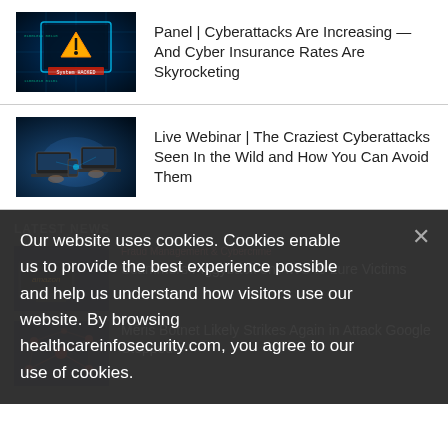[Figure (photo): Cyber hacking themed image with warning triangle on blue digital background]
Panel | Cyberattacks Are Increasing — And Cyber Insurance Rates Are Skyrocketing
[Figure (photo): Multiple hands using laptops and phones on a digital connected surface]
Live Webinar | The Craziest Cyberattacks Seen In the Wild and How You Can Avoid Them
LATEST NEWS
[Figure (photo): Amazon AWS themed laptop screen image]
Fraud Management & Cybercrime
Scammers Piggyback on AWS to Lure Victims
[Figure (photo): Network nodes connected diagram image]
Mēris Botnet Likely Strikes Again in Attack Google Stopped
Our website uses cookies. Cookies enable us to provide the best experience possible and help us understand how visitors use our website. By browsing healthcareinfosecurity.com, you agree to our use of cookies.